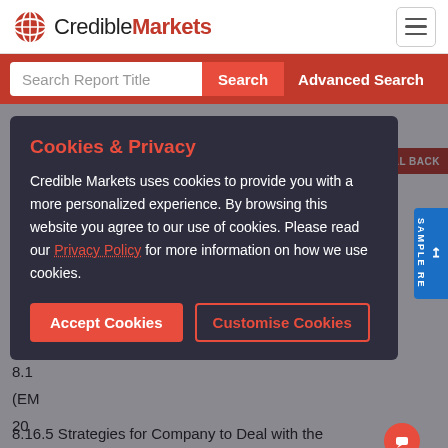CredibleMarkets
Search Report Title
Margin 2016-2021
8.15.4 Company Recent Development
Cookies & Privacy
Credible Markets uses cookies to provide you with a more personalized experience. By browsing this website you agree to our use of cookies. Please read our Privacy Policy for more information on how we use cookies.
Accept Cookies
Customise Cookies
8.16.5 Strategies for Company to Deal with the